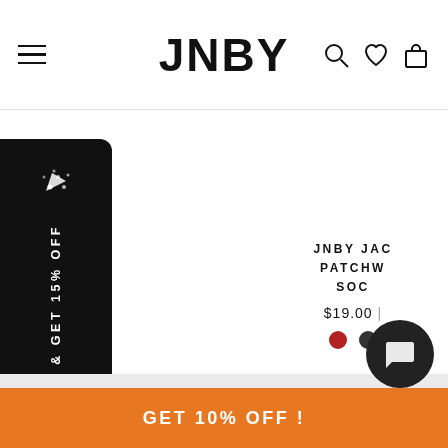JNBY
JNBY JACQUARD PATCHWORK SOCKS $19.00
[Figure (screenshot): Side referral banner with confetti icon and rotated text: REFER & GET 15% OFF on black rounded rectangle]
SIGN UP GET 10% OFF
GET 10% OFF !